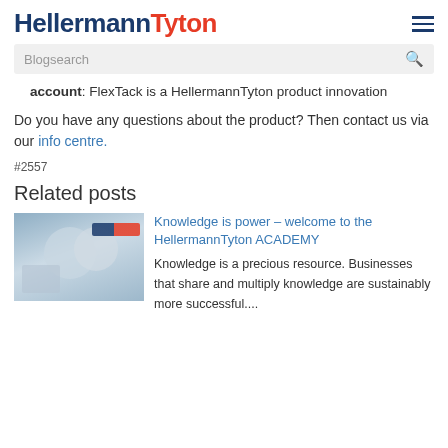HellermannTyton
Blogsearch
account: FlexTack is a HellermannTyton product innovation
Do you have any questions about the product? Then contact us via our info centre.
#2557
Related posts
[Figure (photo): People in an office/training environment with HellermannTyton branding visible]
Knowledge is power – welcome to the HellermannTyton ACADEMY Knowledge is a precious resource. Businesses that share and multiply knowledge are sustainably more successful....